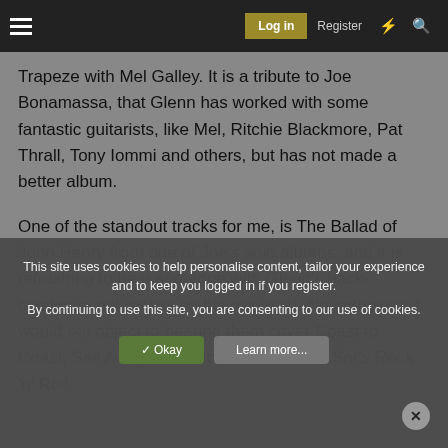Log in  Register
Trapeze with Mel Galley. It is a tribute to Joe Bonamassa, that Glenn has worked with some fantastic guitarists, like Mel, Ritchie Blackmore, Pat Thrall, Tony Iommi and others, but has not made a better album.
One of the standout tracks for me, is The Ballad of John Henry from one of Joe's solo albums, and it is refreshing to hear someone with Glenn's back-catalogue not relying on his own past. Nevertheless, I would not object to hearing them cover Coast to Coast, Sail Away, Soul Mover or Bonham Snr's Rock 'n' Roll.
This site uses cookies to help personalise content, tailor your experience and to keep you logged in if you register.
By continuing to use this site, you are consenting to our use of cookies.